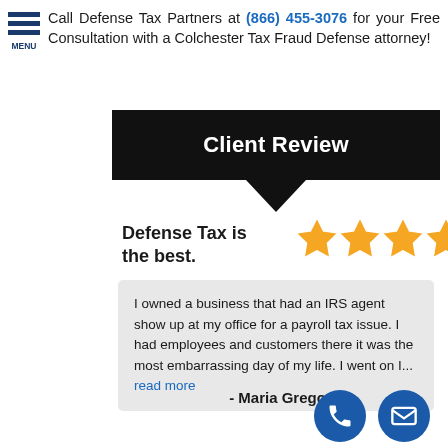Call Defense Tax Partners at (866) 455-3076 for your Free Consultation with a Colchester Tax Fraud Defense attorney!
Client Review
Defense Tax is the best.
[Figure (other): Five gold star rating icons]
I owned a business that had an IRS agent show up at my office for a payroll tax issue. I had employees and customers there it was the most embarrassing day of my life. I went on I... read more
- Maria Gregory